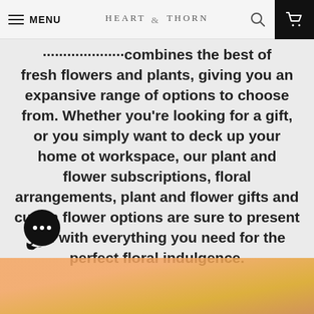MENU  HEART & THORN
fresh flowers and plants, giving you an expansive range of options to choose from. Whether you're looking for a gift, or you simply want to deck up your home ot workspace, our plant and flower subscriptions, floral arrangements, plant and flower gifts and cutom flower options are sure to present you with everything you need for the perfect floral indulgence.
[Figure (illustration): Chat bubble icon with three dots indicating a messaging widget]
[Figure (photo): Bottom partial image strip showing warm orange/golden tones, likely flowers]